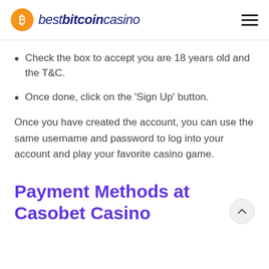bestbitcoincasino
Check the box to accept you are 18 years old and the T&C.
Once done, click on the ‘Sign Up’ button.
Once you have created the account, you can use the same username and password to log into your account and play your favorite casino game.
Payment Methods at Casobet Casino